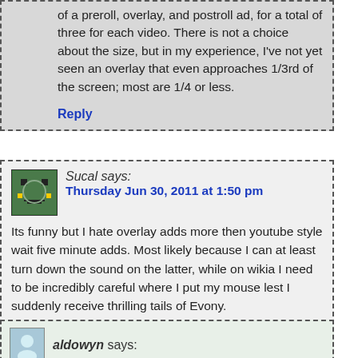of a preroll, overlay, and postroll ad, for a total of three for each video. There is not a choice about the size, but in my experience, I've not yet seen an overlay that even approaches 1/3rd of the screen; most are 1/4 or less.
Reply
Sucal says:
Thursday Jun 30, 2011 at 1:50 pm
Its funny but I hate overlay adds more then youtube style wait five minute adds. Most likely because I can at least turn down the sound on the latter, while on wikia I need to be incredibly careful where I put my mouse lest I suddenly receive thrilling tails of Evony.
Reply
aldowyn says: